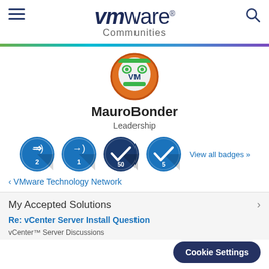VMware Communities
[Figure (photo): VMware Communities user avatar — cartoon robot face with 'VM' text, orange/green color scheme, circular crop]
MauroBonder
Leadership
[Figure (infographic): Four circular badge icons in blue: two login/arrow badges numbered 2 and 1, two checkmark badges numbered 50 and 5. Link: 'View all badges »']
‹ VMware Technology Network
My Accepted Solutions
Re: vCenter Server Install Question
vCenter™ Server Discussions
Cookie Settings